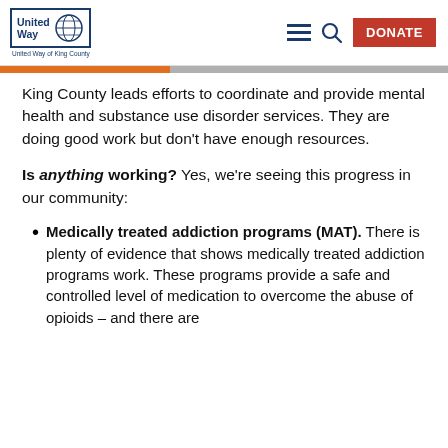United Way of King County — navigation header with DONATE button
King County leads efforts to coordinate and provide mental health and substance use disorder services. They are doing good work but don't have enough resources.
Is anything working? Yes, we're seeing this progress in our community:
Medically treated addiction programs (MAT). There is plenty of evidence that shows medically treated addiction programs work. These programs provide a safe and controlled level of medication to overcome the abuse of opioids – and there are